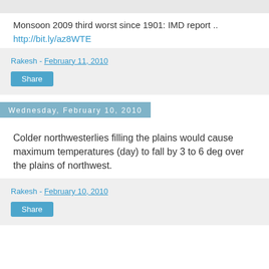Monsoon 2009 third worst since 1901: IMD report ..
http://bit.ly/az8WTE
Rakesh - February 11, 2010
Share
Wednesday, February 10, 2010
Colder northwesterlies filling the plains would cause maximum temperatures (day) to fall by 3 to 6 deg over the plains of northwest.
Rakesh - February 10, 2010
Share